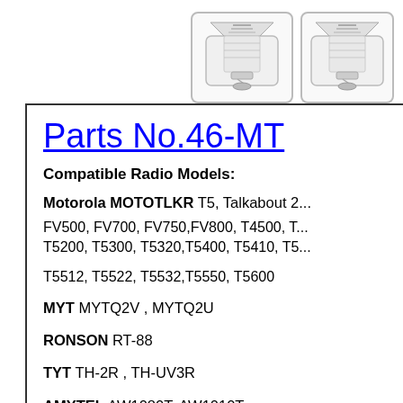[Figure (photo): Two product images of radio antenna accessories shown side by side in rounded border boxes at the top of the page]
Parts No.46-MT
Compatible Radio Models:
Motorola MOTOTLKR T5, Talkabout 2...
FV500, FV700, FV750,FV800, T4500, T... T5200, T5300, T5320,T5400, T5410, T5...
T5512, T5522, T5532,T5550, T5600
MYT MYTQ2V , MYTQ2U
RONSON RT-88
TYT TH-2R , TH-UV3R
AMYTEL AW1080T, AW1010T